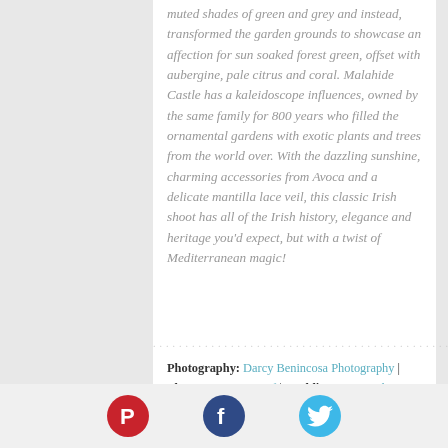muted shades of green and grey and instead, transformed the garden grounds to showcase an affection for sun soaked forest green, offset with aubergine, pale citrus and coral. Malahide Castle has a kaleidoscope influences, owned by the same family for 800 years who filled the ornamental gardens with exotic plants and trees from the world over. With the dazzling sunshine, charming accessories from Avoca and a delicate mantilla lace veil, this classic Irish shoot has all of the Irish history, elegance and heritage you'd expect, but with a twist of Mediterranean magic!
Photography: Darcy Benincosa Photography | Flowers: A New Leaf | Wedding Gown: The White Gallery | Cake: The Cake Cafe | Stationery: Pretty as a Picture | Hair & Makeup: April Benincosa | Creative
[Figure (other): Social media icons: Pinterest (red circle with P), Facebook (dark blue circle with f), Twitter (light blue circle with bird)]